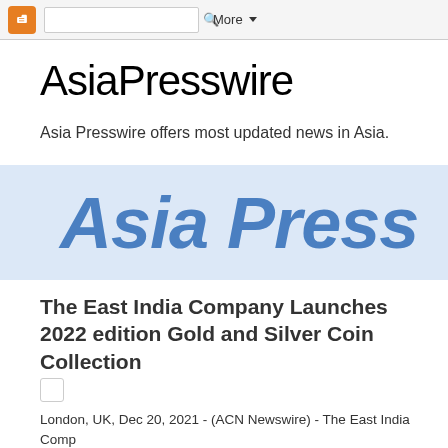Blogger | More
AsiaPresswire
Asia Presswire offers most updated news in Asia.
[Figure (logo): Asia Presswire logo in bold italic blue text on light blue background]
The East India Company Launches 2022 edition Gold and Silver Coin Collection
London, UK, Dec 20, 2021 - (ACN Newswire) - The East India Comp limited edition gold and silver coin collection that debuted in it